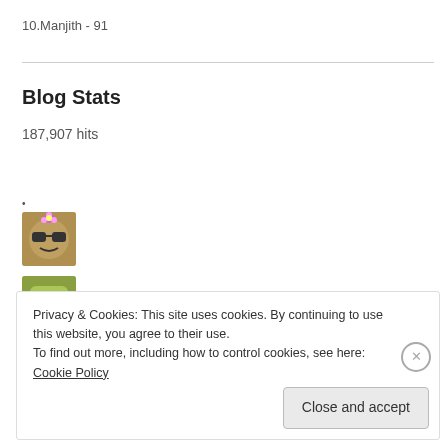10.Manjith - 91
Blog Stats
187,907 hits
Chandrakant
Dreamz
Privacy & Cookies: This site uses cookies. By continuing to use this website, you agree to their use.
To find out more, including how to control cookies, see here: Cookie Policy
Close and accept